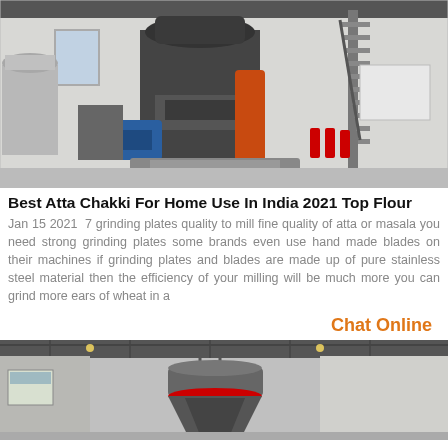[Figure (photo): Industrial milling machine in a factory setting with a large metal machine, orange cylinder, blue motor, ventilation duct on the left, and metal staircase on the right side of the building.]
Best Atta Chakki For Home Use In India 2021 Top Flour
Jan 15 2021  7 grinding plates quality to mill fine quality of atta or masala you need strong grinding plates some brands even use hand made blades on their machines if grinding plates and blades are made up of pure stainless steel material then the efficiency of your milling will be much more you can grind more ears of wheat in a
Chat Online
[Figure (photo): Industrial cone crusher or grinding machine hanging from the ceiling of a factory building with grey roof trusses and lighting.]